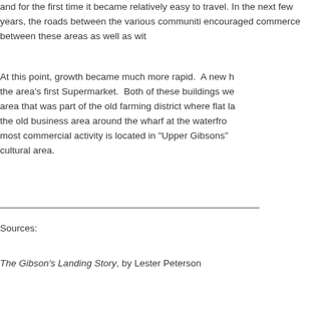and for the first time it became relatively easy to travel. In the next few years, the roads between the various communities encouraged commerce between these areas as well as with...
At this point, growth became much more rapid. A new h... the area's first Supermarket. Both of these buildings we... area that was part of the old farming district where flat la... the old business area around the wharf at the waterfron... most commercial activity is located in "Upper Gibsons" ... cultural area.
Sources:
The Gibson's Landing Story, by Lester Peterson